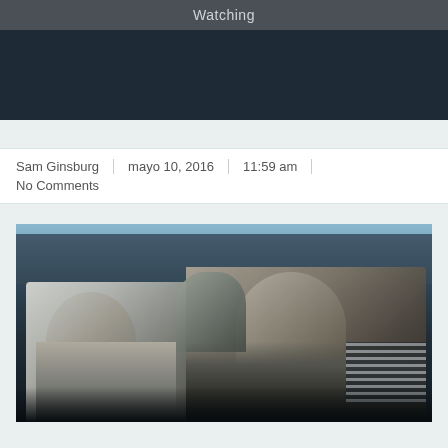Watching
[Figure (photo): Dark cinematic still image, two men working on or around machinery, low angle shot]
Sam Ginsburg | mayo 10, 2016 | 11:59 am | No Comments